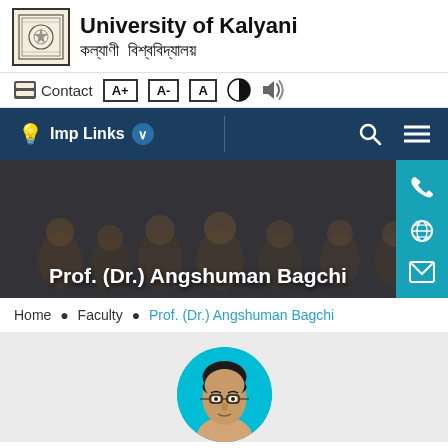[Figure (logo): University of Kalyani logo — square bordered emblem with circular motif]
University of Kalyani
কল্যাণী  বিশ্ববিদ্যালয়
Contact  A+  A-  A  [contrast icon] [audio icon]
Imp Links
[Figure (photo): Banner photo of university students in a classroom with text overlay: Prof. (Dr.) Angshuman Bagchi]
Prof. (Dr.) Angshuman Bagchi
Home • Faculty • Prof. (Dr.) Angshuman Bagchi
[Figure (photo): Circular profile photo of Prof. (Dr.) Angshuman Bagchi on teal background]